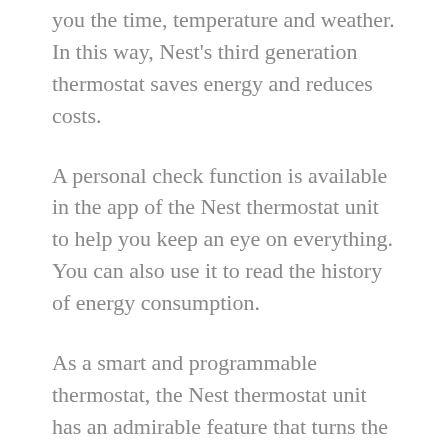you the time, temperature and weather. In this way, Nest's third generation thermostat saves energy and reduces costs.
A personal check function is available in the app of the Nest thermostat unit to help you keep an eye on everything. You can also use it to read the history of energy consumption.
As a smart and programmable thermostat, the Nest thermostat unit has an admirable feature that turns the device off when no one is around. If you forget to turn off the device, it will do so automatically and will help you save energy.
Whenever you set the temperature of the thermostat to change the room climate, it will be displayed on the device's screen. In addition, if you